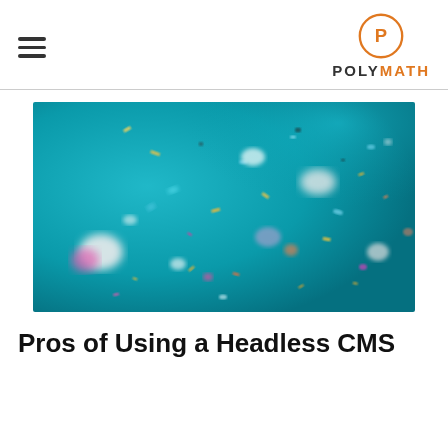POLYMATH
[Figure (photo): Close-up macro photograph of colorful confetti or microplastics scattered on a teal/turquoise background, with blurred bokeh effect showing pink, yellow, white, and orange particles]
Pros of Using a Headless CMS